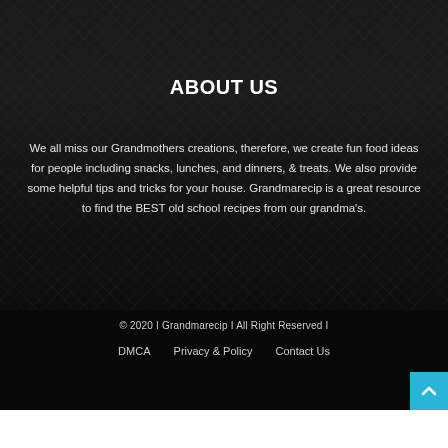ABOUT US
We all miss our Grandmothers creations, therefore, we create fun food ideas for people including snacks, lunches, and dinners, & treats. We also provide some helpful tips and tricks for your house. Grandmarecip is a great resource to find the BEST old school recipes from our grandma's.
© 2020 I Grandmarecip I All Right Reserved I
DMCA   Privacy & Policy   Contact Us